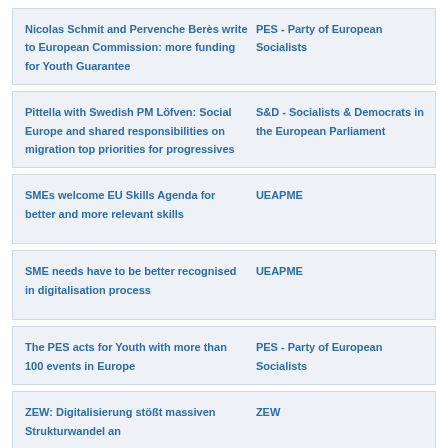Nicolas Schmit and Pervenche Berès write to European Commission: more funding for Youth Guarantee | PES - Party of European Socialists
Pittella with Swedish PM Löfven: Social Europe and shared responsibilities on migration top priorities for progressives | S&D - Socialists & Democrats in the European Parliament
SMEs welcome EU Skills Agenda for better and more relevant skills | UEAPME
SME needs have to be better recognised in digitalisation process | UEAPME
The PES acts for Youth with more than 100 events in Europe | PES - Party of European Socialists
ZEW: Digitalisierung stößt massiven Strukturwandel an | ZEW